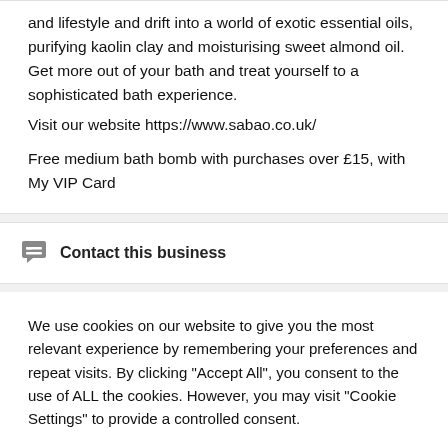and lifestyle and drift into a world of exotic essential oils, purifying kaolin clay and moisturising sweet almond oil. Get more out of your bath and treat yourself to a sophisticated bath experience.
Visit our website https://www.sabao.co.uk/

Free medium bath bomb with purchases over £15, with My VIP Card
Contact this business
We use cookies on our website to give you the most relevant experience by remembering your preferences and repeat visits. By clicking "Accept All", you consent to the use of ALL the cookies. However, you may visit "Cookie Settings" to provide a controlled consent.
Cookie Settings | Accept All